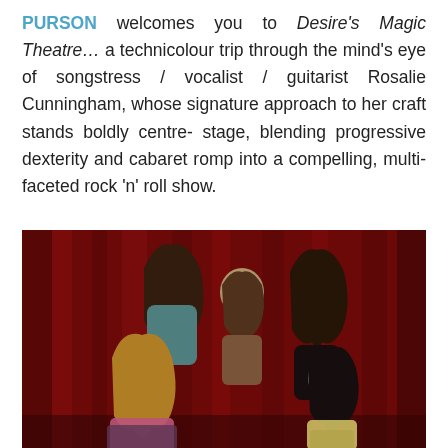PURSON welcomes you to Desire's Magic Theatre… a technicolour trip through the mind's eye of songstress / vocalist / guitarist Rosalie Cunningham, whose signature approach to her craft stands boldly centre- stage, blending progressive dexterity and cabaret romp into a compelling, multi-faceted rock 'n' roll show.
[Figure (photo): Band photo of Purson — five members posing in front of red draped curtain background. Three in back row (two with long hair flanking a shorter member in centre), two in front row (woman with curly blonde hair on left, woman with dark hair on right in yellow outfit).]